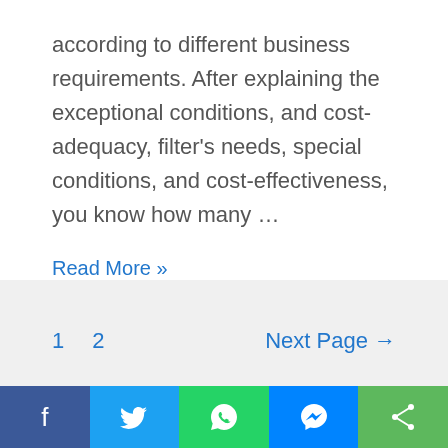according to different business requirements. After explaining the exceptional conditions, and cost-adequacy, filter's needs, special conditions, and cost-effectiveness, you know how many …
Read More »
1   2   Next Page →
Explore>
Business
[Figure (infographic): Social sharing bar with Facebook, Twitter, WhatsApp, Messenger, and Share buttons]